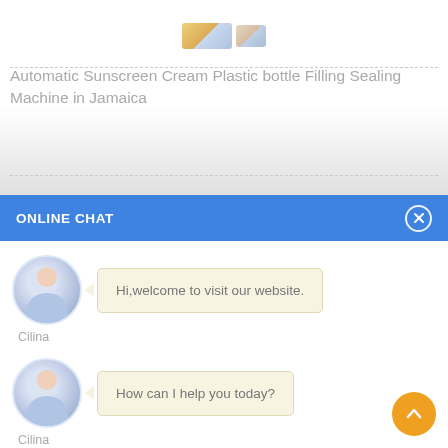[Figure (photo): Product image area with small product icons at top of card]
Automatic Sunscreen Cream Plastic bottle Filling Sealing Machine in Jamaica
ONLINE CHAT
[Figure (photo): Avatar photo of Cilina, a woman in a light blue shirt]
Hi,welcome to visit our website.
Cilina
[Figure (photo): Avatar photo of Cilina, a woman in a light blue shirt]
How can I help you today?
Cilina